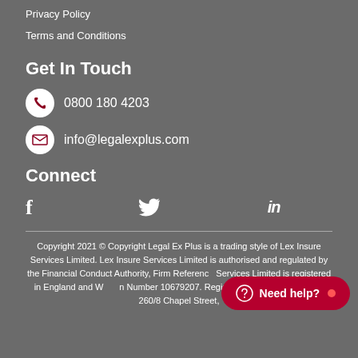Privacy Policy
Terms and Conditions
Get In Touch
0800 180 4203
info@legalexplus.com
Connect
[Figure (infographic): Social media icons: Facebook (f), Twitter (bird), LinkedIn (in)]
Copyright 2021 © Copyright Legal Ex Plus is a trading style of Lex Insure Services Limited. Lex Insure Services Limited is authorised and regulated by the Financial Conduct Authority, Firm Reference [number]. Lex Insure Services Limited is registered in England and Wales with Company Number 10679207. Registered Office: Alex House, 260/8 Chapel Street,